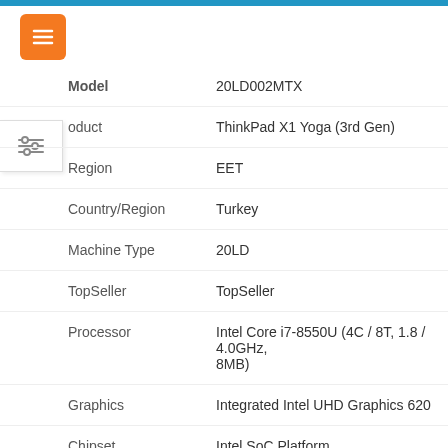| Field | Value |
| --- | --- |
| Model | 20LD002MTX |
| Product | ThinkPad X1 Yoga (3rd Gen) |
| Region | EET |
| Country/Region | Turkey |
| Machine Type | 20LD |
| TopSeller | TopSeller |
| Processor | Intel Core i7-8550U (4C / 8T, 1.8 / 4.0GHz, 8MB) |
| Graphics | Integrated Intel UHD Graphics 620 |
| Chipset | Intel SoC Platform |
| Memory | 16GB Sol...ll LPDDR3-2133 |